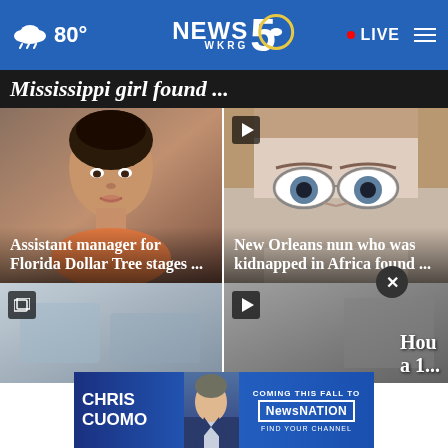80° NEWS 5 WKRG • LIVE
Mississippi girl found ...
[Figure (photo): Mugshot of a Black woman looking downward]
Assistant manager for Florida Dollar Tree stages ...
[Figure (photo): Close-up photo of a middle-aged white man with glasses, video indicator overlay]
New Orleans nun who was kidnapped in Africa found ...
[Figure (photo): Bottom left news card with gallery icon]
[Figure (photo): Bottom right news card with play icon, text 'Hou' and 'a 1...' visible]
[Figure (infographic): Chris Cuomo - Coming This Fall to NewsNation advertisement banner]